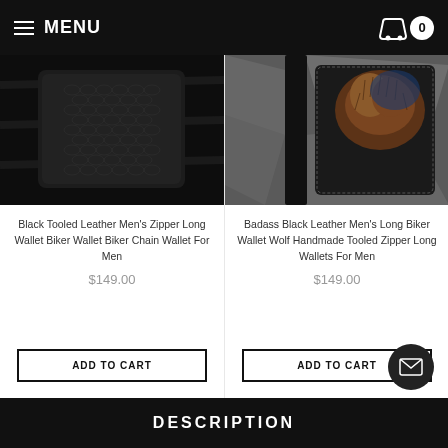MENU | Cart: 0
[Figure (photo): Black tooled leather zipper wallet product photo on dark wood surface]
Black Tooled Leather Men's Zipper Long Wallet Biker Wallet Biker Chain Wallet For Men
$149.00
[Figure (photo): Badass black leather biker wallet with wolf handmade tooled design, partially open showing interior]
Badass Black Leather Men's Long Biker Wallet Wolf Handmade Tooled Zipper Long Wallets For Men
$149.00
ADD TO CART
ADD TO CART
DESCRIPTION